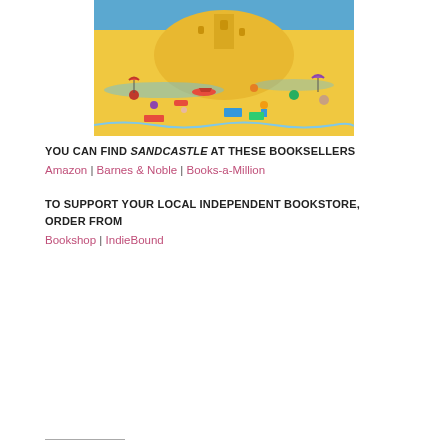[Figure (illustration): Book cover illustration for Sandcastle showing a large sandy beach scene with a sandcastle, ocean, colorful people and beach items on yellow sandy beach with blue water and sky]
YOU CAN FIND SANDCASTLE AT THESE BOOKSELLERS
Amazon | Barnes & Noble | Books-a-Million
TO SUPPORT YOUR LOCAL INDEPENDENT BOOKSTORE, ORDER FROM
Bookshop | IndieBound